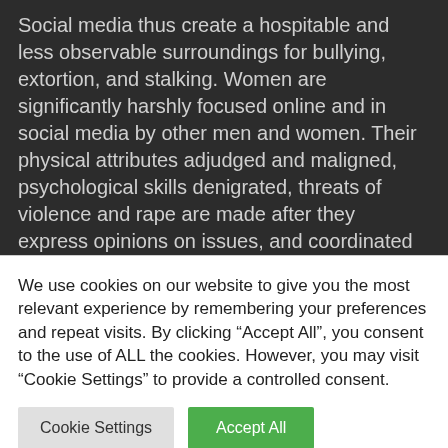Social media thus create a hospitable and less observable surroundings for bullying, extortion, and stalking. Women are significantly harshly focused online and in social media by other men and women. Their physical attributes adjudged and maligned, psychological skills denigrated, threats of violence and rape are made after they express opinions on issues, and coordinated attacks are sometimes made by a number of parties. Compare
We use cookies on our website to give you the most relevant experience by remembering your preferences and repeat visits. By clicking “Accept All”, you consent to the use of ALL the cookies. However, you may visit “Cookie Settings” to provide a controlled consent.